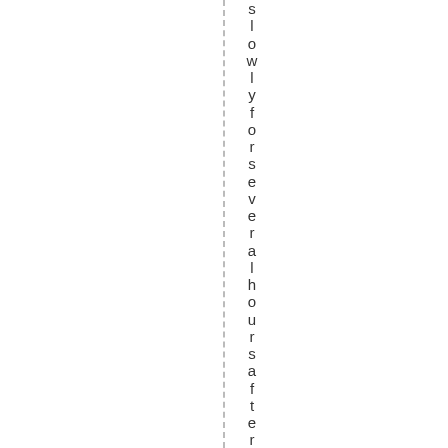slowly for several hours after abre